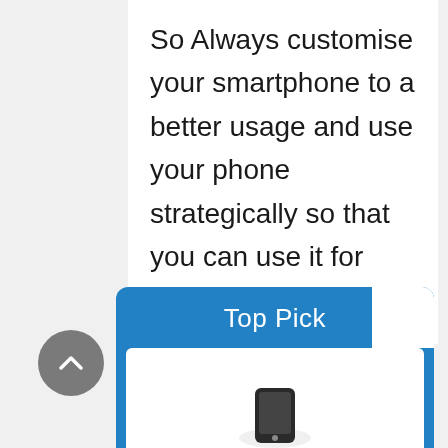So Always customise your smartphone to a better usage and use your phone strategically so that you can use it for longer time.
[Figure (other): A circular grey button with an upward-pointing chevron arrow icon, used for scrolling to the top of a page.]
[Figure (infographic): A blue card labeled 'Top Pick' at the top in white text, with a white inner card area below containing the bottom portion of a phone or product image.]